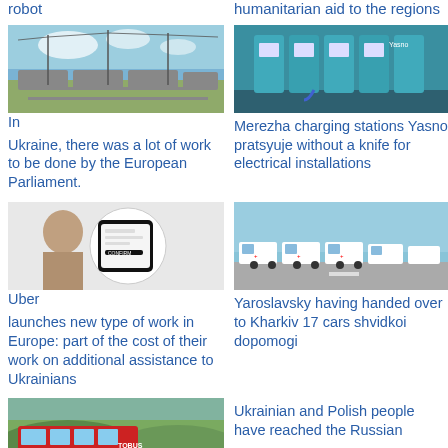robot
humanitarian aid to the regions
[Figure (photo): Train wagons on railway tracks with overhead electric lines, blue sky with clouds]
In Ukraine, there was a lot of work to be done by the European Parliament.
[Figure (photo): Yasno electric vehicle charging stations in a parking facility]
Merezha charging stations Yasno pratsyuje without a knife for electrical installations
[Figure (photo): Person holding a phone showing the Uber app interface]
Uber launches new type of work in Europe: part of the cost of their work on additional assistance to Ukrainians
[Figure (photo): Row of white ambulance vehicles with red crosses on a road]
Yaroslavsky having handed over to Kharkiv 17 cars shvidkoi dopomogi
[Figure (photo): Red and white bus on a road with green hills in background]
Ukrainian and Polish people have reached the Russian